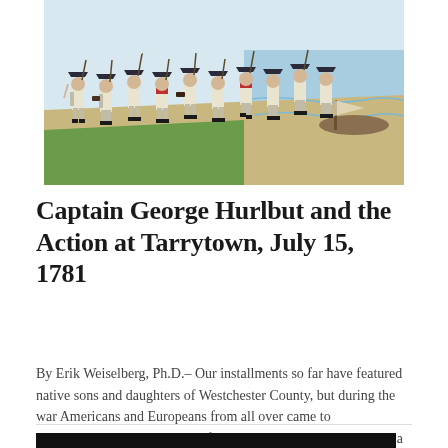[Figure (illustration): Painting of Revolutionary War soldiers in white uniforms with tricorn hats marching along a shoreline, carrying muskets and equipment.]
Captain George Hurlbut and the Action at Tarrytown, July 15, 1781
By Erik Weiselberg, Ph.D.– Our installments so far have featured native sons and daughters of Westchester County, but during the war Americans and Europeans from all over came to Westchester. This installment features Captain George Hurlbut, a nativ… MORE »